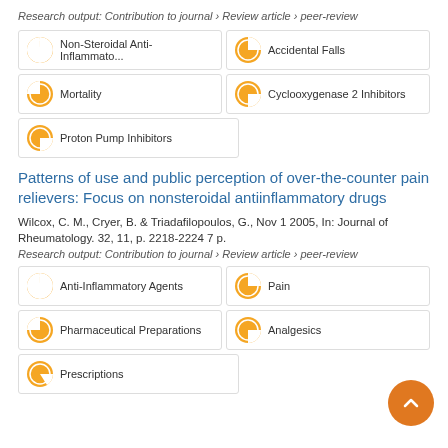Research output: Contribution to journal › Review article › peer-review
Non-Steroidal Anti-Inflammato...
Accidental Falls
Mortality
Cyclooxygenase 2 Inhibitors
Proton Pump Inhibitors
Patterns of use and public perception of over-the-counter pain relievers: Focus on nonsteroidal antiinflammatory drugs
Wilcox, C. M., Cryer, B. & Triadafilopoulos, G., Nov 1 2005, In: Journal of Rheumatology. 32, 11, p. 2218-2224 7 p.
Research output: Contribution to journal › Review article › peer-review
Anti-Inflammatory Agents
Pain
Pharmaceutical Preparations
Analgesics
Prescriptions